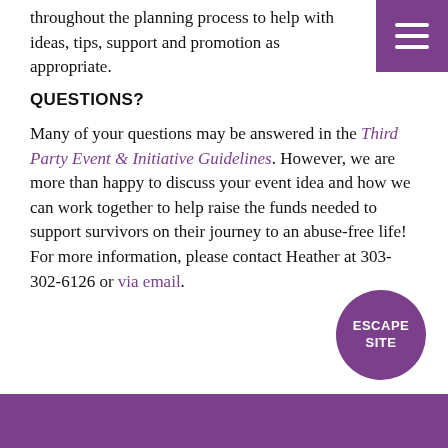throughout the planning process to help with ideas, tips, support and promotion as appropriate.
QUESTIONS?
Many of your questions may be answered in the Third Party Event & Initiative Guidelines. However, we are more than happy to discuss your event idea and how we can work together to help raise the funds needed to support survivors on their journey to an abuse-free life! For more information, please contact Heather at 303-302-6126 or via email.